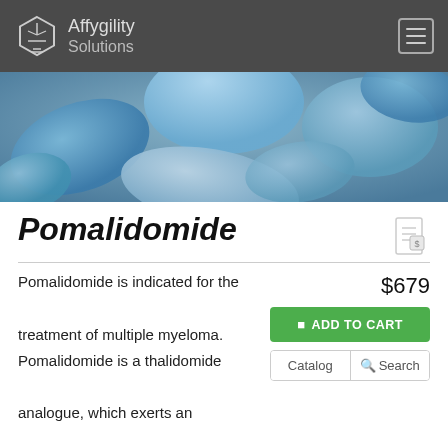Affygility Solutions
[Figure (photo): Close-up photo of multiple blue and teal pharmaceutical tablets and capsules]
Pomalidomide
Pomalidomide is indicated for the treatment of multiple myeloma. Pomalidomide is a thalidomide analogue, which exerts an immunomodulatory antineoplastic effect by the inhibition of the proliferation and induction of apoptosis of hematopoietic tumor cells, and enhancement of cell- and natural killer cell-mediated immunity and inhibition
$679
ADD TO CART
Catalog   Search